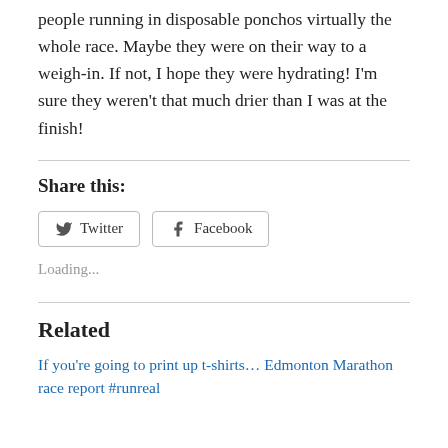people running in disposable ponchos virtually the whole race. Maybe they were on their way to a weigh-in. If not, I hope they were hydrating! I'm sure they weren't that much drier than I was at the finish!
Share this:
[Figure (other): Twitter and Facebook share buttons]
Loading...
Related
If you're going to print up t-shirts… Edmonton Marathon race report #runreal